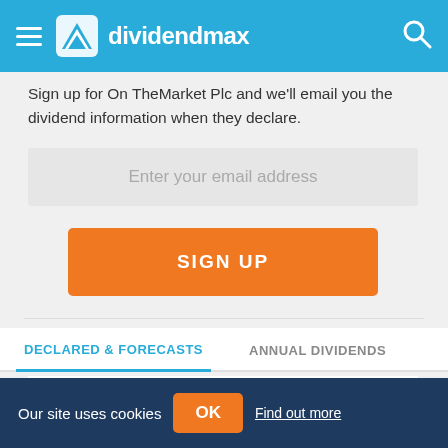dividendmax
Sign up for On TheMarket Plc and we'll email you the dividend information when they declare.
Enter your email address
SIGN UP
DECLARED & FORECASTS
ANNUAL DIVIDENDS
The table below shows the full dividend history for OnTheMarket Plc
Our site uses cookies  OK  Find out more